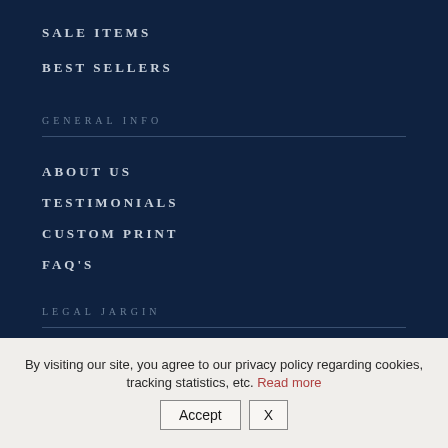SALE ITEMS
BEST SELLERS
GENERAL INFO
ABOUT US
TESTIMONIALS
CUSTOM PRINT
FAQ'S
LEGAL JARGIN
SHIPPING & RETURNS FAQ
By visiting our site, you agree to our privacy policy regarding cookies, tracking statistics, etc. Read more
Accept  X